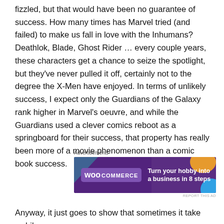fizzled, but that would have been no guarantee of success. How many times has Marvel tried (and failed) to make us fall in love with the Inhumans? Deathlok, Blade, Ghost Rider … every couple years, these characters get a chance to seize the spotlight, but they've never pulled it off, certainly not to the degree the X-Men have enjoyed. In terms of unlikely success, I expect only the Guardians of the Galaxy rank higher in Marvel's oeuvre, and while the Guardians used a clever comics reboot as a springboard for their success, that property has really been more of a movie phenomenon than a comic book success.
Advertisements
[Figure (other): WooCommerce advertisement banner: dark purple background with decorative geometric shapes (teal triangle, orange shape, blue circle), WooCommerce logo on left, text reading 'Turn your hobby into a business in 8 steps' on right]
Anyway, it just goes to show that sometimes it take awhile